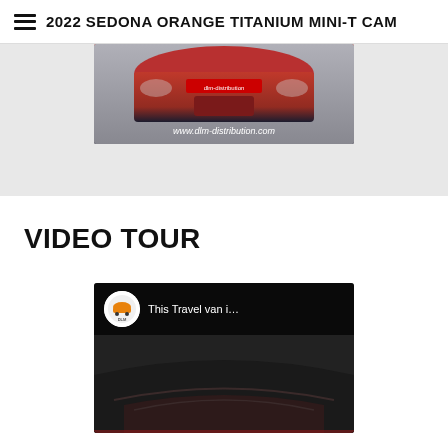2022 SEDONA ORANGE TITANIUM MINI-T CAM
[Figure (photo): Partial view of a red/orange vehicle front end with www.dlm-distribution.com watermark, shown against a grey background ad section]
VIDEO TOUR
[Figure (screenshot): YouTube video thumbnail showing 'This Travel van i...' with a DLM distribution channel logo (orange car on white circle) and a dark interior/exterior van image below]